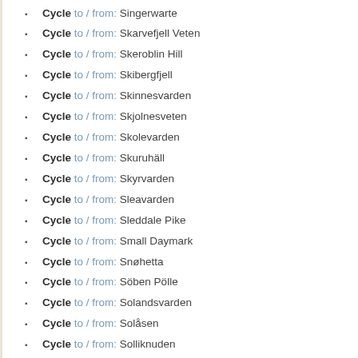Cycle to / from: Singerwarte
Cycle to / from: Skarvefjell Veten
Cycle to / from: Skeroblin Hill
Cycle to / from: Skibergfjell
Cycle to / from: Skinnesvarden
Cycle to / from: Skjolnesveten
Cycle to / from: Skolevarden
Cycle to / from: Skuruhäll
Cycle to / from: Skyrvarden
Cycle to / from: Sleavarden
Cycle to / from: Sleddale Pike
Cycle to / from: Small Daymark
Cycle to / from: Snøhetta
Cycle to / from: Söben Pölle
Cycle to / from: Solandsvarden
Cycle to / from: Solåsen
Cycle to / from: Solliknuden
Cycle to / from: Sonjavarden
Cycle to / from: Sourfoot Fell
Cycle to / from: South Head